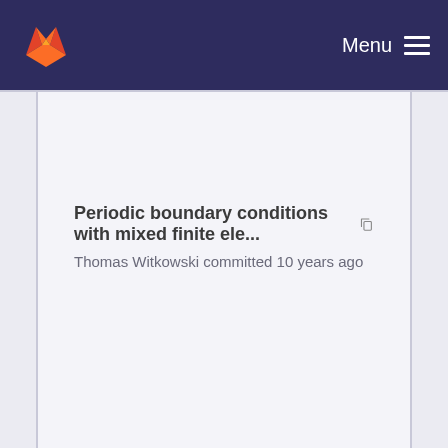[Figure (logo): GitLab fox logo in orange and red on dark navy navigation bar with Menu button on right]
Periodic boundary conditions with mixed finite ele...
Thomas Witkowski committed 10 years ago